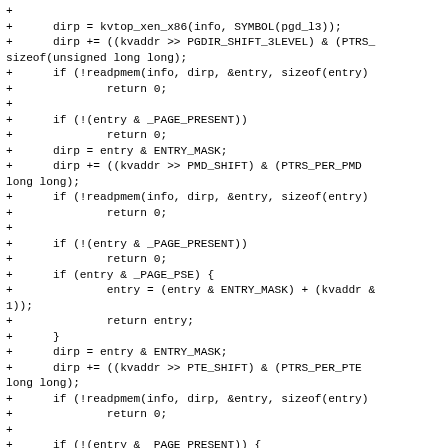Code diff showing x86 page table walking implementation with kvtop_xen_x86, readpmem, and entry/dirp manipulation for PGDIR, PMD, and PTE levels.